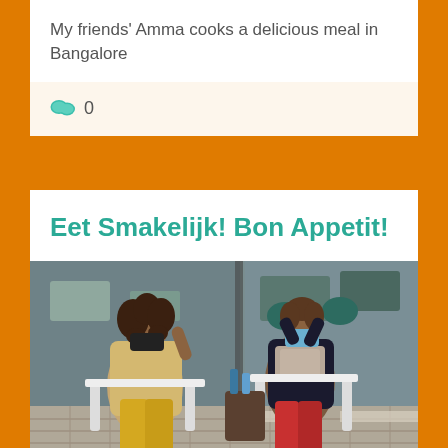My friends' Amma cooks a delicious meal in Bangalore
💬 0
Eet Smakelijk! Bon Appetit!
[Figure (photo): Two women wearing face masks sitting in folding chairs outside a cafe/restaurant. The woman on the left has curly hair and wears a leopard print coat with yellow pants. The woman on the right wears a dark jacket with a patterned scarf and red pants. They are in front of a large glass storefront.]